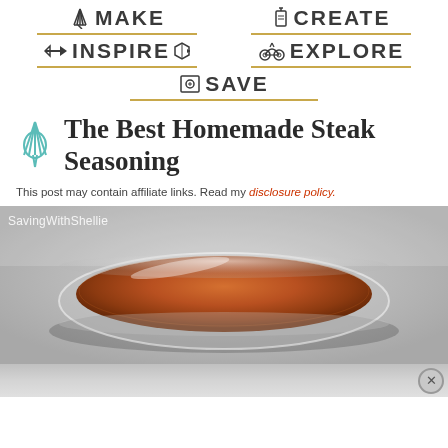MAKE   CREATE   INSPIRE   EXPLORE   SAVE
The Best Homemade Steak Seasoning
This post may contain affiliate links. Read my disclosure policy.
[Figure (photo): A glass dish filled with reddish-brown steak seasoning spice blend, watermarked with SavingWithShellie]